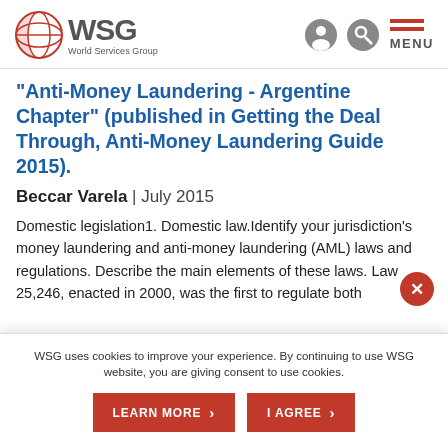WSG World Services Group
"Anti-Money Laundering - Argentine Chapter" (published in Getting the Deal Through, Anti-Money Laundering Guide 2015).
Beccar Varela | July 2015
Domestic legislation1. Domestic law.Identify your jurisdiction's money laundering and anti-money laundering (AML) laws and regulations. Describe the main elements of these laws. Law 25,246, enacted in 2000, was the first to regulate both
WSG uses cookies to improve your experience. By continuing to use WSG website, you are giving consent to use cookies.